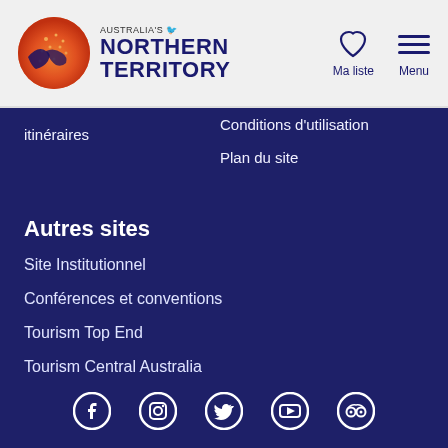Australia's Northern Territory - Ma liste | Menu
itinéraires
Conditions d'utilisation
Plan du site
Autres sites
Site Institutionnel
Conférences et conventions
Tourism Top End
Tourism Central Australia
[Figure (logo): Social media icons: Facebook, Instagram, Twitter, YouTube, TripAdvisor]